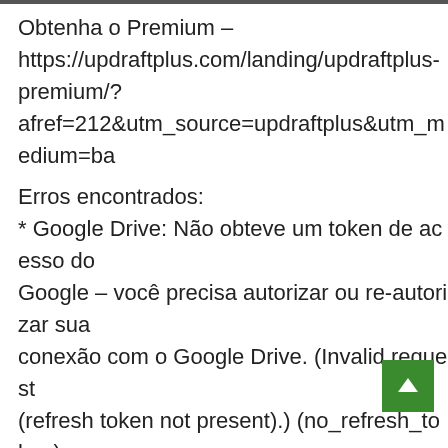Obtenha o Premium – https://updraftplus.com/landing/updraftplus-premium/?afref=212&utm_source=updraftplus&utm_medium=ba
Erros encontrados:
* Google Drive: Não obteve um token de acesso do Google – você precisa autorizar ou re-autorizar sua conexão com o Google Drive. (Invalid request (refresh token not present).) (no_refresh_token)
–
b1_H2rPWyU0Bp8Zh3NS86j0nfeeHXOrUsc6RjwVOr
Content-Type: text/plain; name=log.2d0c7c5ea536.txt
Content-Transfer-Encoding: base64
Content-Disposition: attachment; filename=log.2d0c7c5ea536.txt